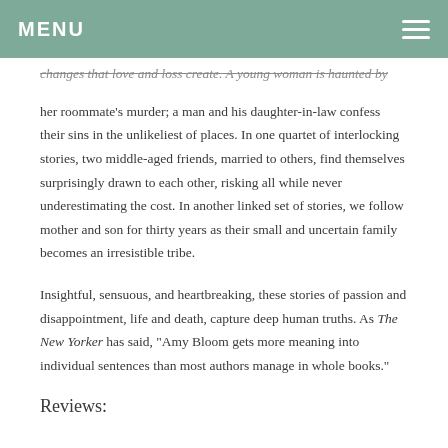MENU
changes that love and loss create. A young woman is haunted by her roommate's murder; a man and his daughter-in-law confess their sins in the unlikeliest of places. In one quartet of interlocking stories, two middle-aged friends, married to others, find themselves surprisingly drawn to each other, risking all while never underestimating the cost. In another linked set of stories, we follow mother and son for thirty years as their small and uncertain family becomes an irresistible tribe.
Insightful, sensuous, and heartbreaking, these stories of passion and disappointment, life and death, capture deep human truths. As The New Yorker has said, “Amy Bloom gets more meaning into individual sentences than most authors manage in whole books.”
Reviews: